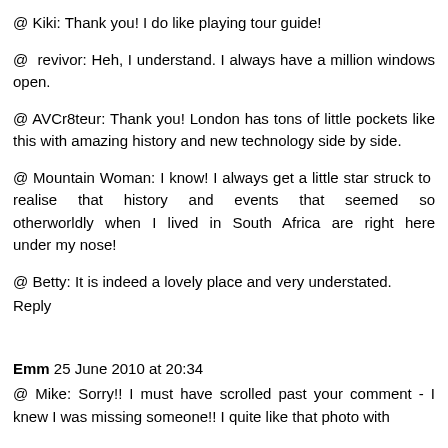@ Kiki: Thank you! I do like playing tour guide!
@ revivor: Heh, I understand. I always have a million windows open.
@ AVCr8teur: Thank you! London has tons of little pockets like this with amazing history and new technology side by side.
@ Mountain Woman: I know! I always get a little star struck to realise that history and events that seemed so otherworldly when I lived in South Africa are right here under my nose!
@ Betty: It is indeed a lovely place and very understated.
Reply
Emm 25 June 2010 at 20:34
@ Mike: Sorry!! I must have scrolled past your comment - I knew I was missing someone!! I quite like that photo with